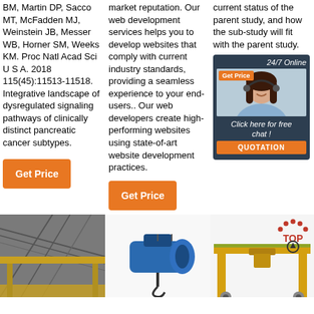BM, Martin DP, Sacco MT, McFadden MJ, Weinstein JB, Messer WB, Horner SM, Weeks KM. Proc Natl Acad Sci U S A. 2018 115(45):11513-11518. Integrative landscape of dysregulated signaling pathways of clinically distinct pancreatic cancer subtypes.
Get Price
market reputation. Our web development services helps you to develop websites that comply with current industry standards, providing a seamless experience to your end-users.. Our web developers create high-performing websites using state-of-art website development practices.
Get Price
current status of the parent study, and how the sub-study will fit with the parent study.
[Figure (photo): Customer service agent with headset, 24/7 Online chat box with orange quotation button]
[Figure (photo): Industrial overhead crane interior photo]
[Figure (photo): Blue industrial hoist/crane equipment]
[Figure (photo): Yellow gantry crane with TOP logo overlay]